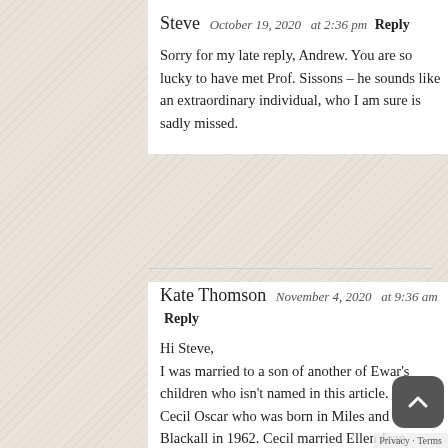Steve   October 19, 2020   at 2:36 pm   Reply
Sorry for my late reply, Andrew. You are so lucky to have met Prof. Sissons – he sounds like an extraordinary individual, who I am sure is sadly missed.
Kate Thomson   November 4, 2020   at 9:36 am   Reply
Hi Steve,
I was married to a son of another of Ewar's children who isn't named in this article. This was Cecil Oscar who was born in Miles and died in Blackall in 1962. Cecil married Ellen Jean